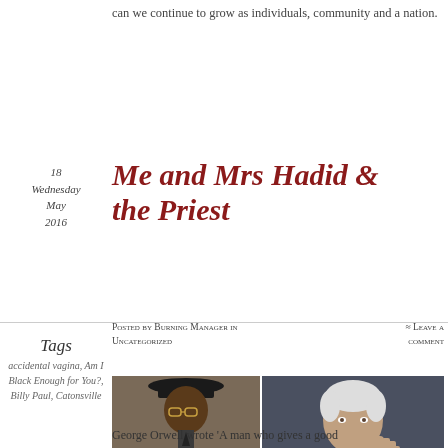can we continue to grow as individuals, community and a nation.
18 Wednesday May 2016
Me and Mrs Hadid & the Priest
Posted by Burning Manager in Uncategorized
≈ Leave a comment
[Figure (photo): Two photos on left: top photo of an older Black man wearing a hat and tie; bottom photo of a woman with dark hair. Right: large photo of an older white-haired man gesturing with his hand.]
Tags
accidental vagina, Am I Black Enough for You?, Billy Paul, Catonsville
George Orwell wrote 'A man who gives a good